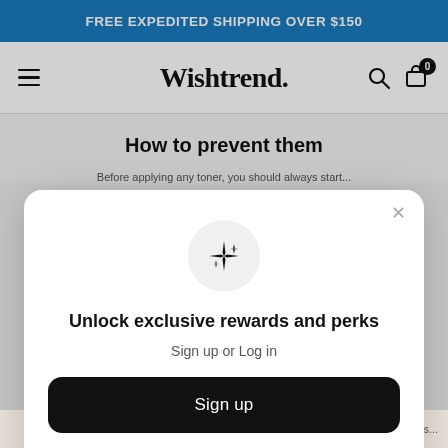FREE EXPEDITED SHIPPING OVER $150
Wishtrend.
How to prevent them
Before applying any toner, you should always start...
[Figure (screenshot): Modal overlay with sparkle icon, title 'Unlock exclusive rewards and perks', subtitle 'Sign up or Log in', a Sign up button, and a sign-in link]
Unlock exclusive rewards and perks
Sign up or Log in
Sign up
Already have an account? Sign in
Don't forget to reapply after you cleanse, check this...